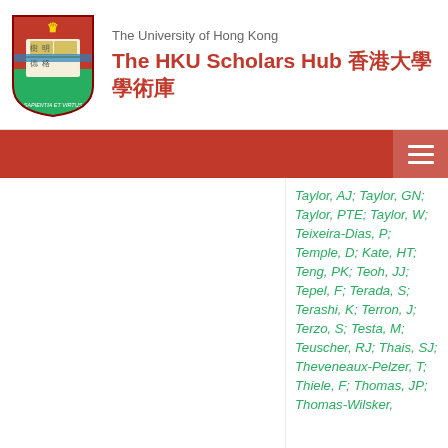The University of Hong Kong — The HKU Scholars Hub 香港大學學術庫
Taylor, AJ; Taylor, GN; Taylor, PTE; Taylor, W; Teixeira-Dias, P; Temple, D; Kate, HT; Teng, PK; Teoh, JJ; Tepel, F; Terada, S; Terashi, K; Terron, J; Terzo, S; Testa, M; Teuscher, RJ; Thais, SJ; Theveneaux-Pelzer, T; Thiele, F; Thomas, JP; Thomas-Wilsker,